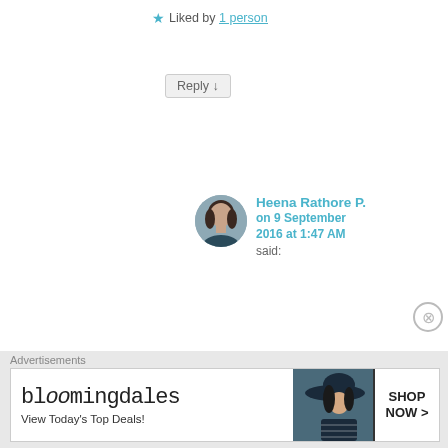★ Liked by 1 person
Reply ↓
Heena Rathore P. on 9 September 2016 at 1:47 AM said:
Thanks! I love them!
★ Liked by 1 person
Reply ↓
Advertisements
[Figure (other): Bloomingdales advertisement banner with logo, 'View Today's Top Deals!' text, woman with hat image, and 'SHOP NOW >' button]